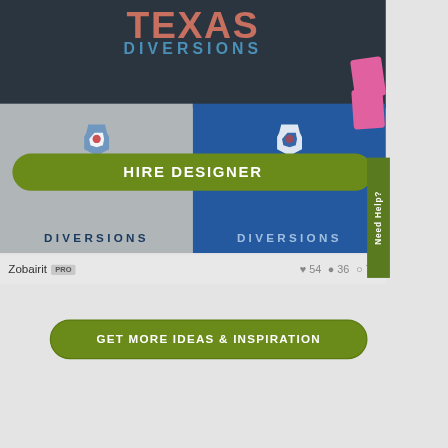[Figure (screenshot): Texas Diversions logo/brand card with two versions: dark background with 'TEXAS DIVERSIONS' text and a blue/red Texas logo, side by side cards with a green 'HIRE DESIGNER' button overlay. Right side panel shows pink card thumbnails and a green 'Need Help?' tab.]
Zobairit PRO  ♥ 54  ● 36  ◎ 70
[Figure (other): Green rounded button reading 'GET MORE IDEAS & INSPIRATION']